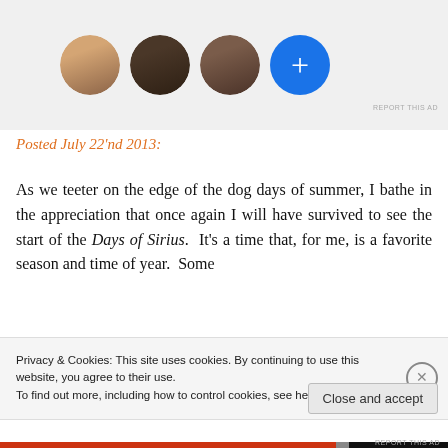[Figure (photo): Row of three circular avatar profile photos and a blue circle with a plus sign, on a light grey background]
REPORT THIS AD
Posted July 22'nd 2013:
As we teeter on the edge of the dog days of summer, I bathe in the appreciation that once again I will have survived to see the start of the Days of Sirius.  It's a time that, for me, is a favorite season and time of year.  Some
Privacy & Cookies: This site uses cookies. By continuing to use this website, you agree to their use.
To find out more, including how to control cookies, see here: Cookie Policy
Close and accept